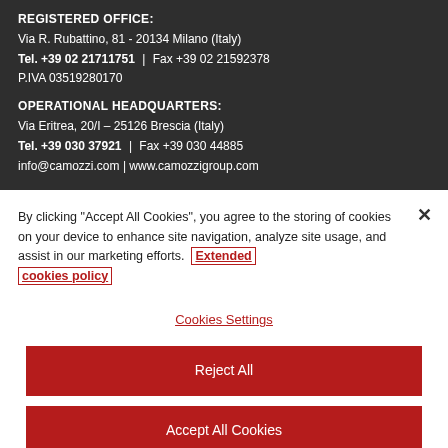REGISTERED OFFICE:
Via R. Rubattino, 81 - 20134 Milano (Italy)
Tel. +39 02 21711751 | Fax +39 02 21592378
P.IVA 03519280170
OPERATIONAL HEADQUARTERS:
Via Eritrea, 20/I – 25126 Brescia (Italy)
Tel. +39 030 37921 | Fax +39 030 44885
info@camozzi.com | www.camozzigroup.com
By clicking "Accept All Cookies", you agree to the storing of cookies on your device to enhance site navigation, analyze site usage, and assist in our marketing efforts. Extended cookies policy
Cookies Settings
Reject All
Accept All Cookies